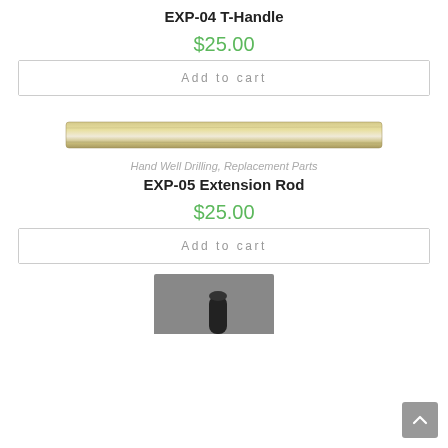EXP-04 T-Handle
$25.00
Add to cart
[Figure (photo): EXP-05 Extension Rod — a long metallic rod photographed horizontally]
Hand Well Drilling, Replacement Parts
EXP-05 Extension Rod
$25.00
Add to cart
[Figure (photo): Partial image of the next product — a grey drilling component with a black cylindrical handle]